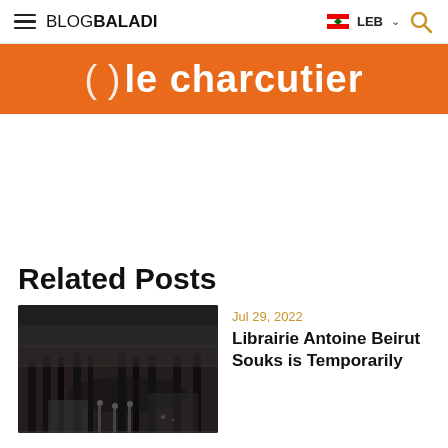BLOGBALADI | LEB
[Figure (photo): Orange advertisement banner with white text reading '( ) le charcutier']
Related Posts
[Figure (photo): Dark interior photo of what appears to be a shopping mall or covered souk with dim lighting and people walking in the background]
Jul 29, 2022
Librairie Antoine Beirut Souks is Temporarily